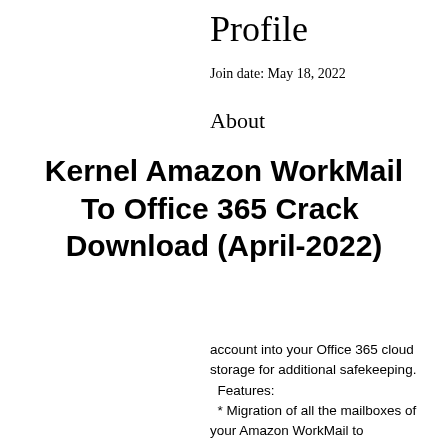Profile
Join date: May 18, 2022
About
Kernel Amazon WorkMail To Office 365 Crack  Download (April-2022)
account into your Office 365 cloud storage for additional safekeeping.
  Features:
  * Migration of all the mailboxes of your Amazon WorkMail to